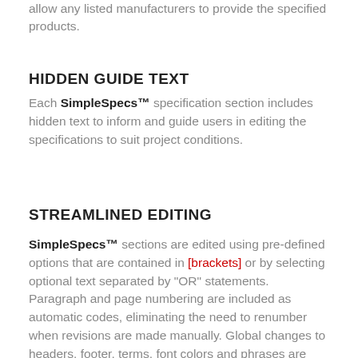allow any listed manufacturers to provide the specified products.
HIDDEN GUIDE TEXT
Each SimpleSpecs™ specification section includes hidden text to inform and guide users in editing the specifications to suit project conditions.
STREAMLINED EDITING
SimpleSpecs™ sections are edited using pre-defined options that are contained in [brackets] or by selecting optional text separated by "OR" statements. Paragraph and page numbering are included as automatic codes, eliminating the need to renumber when revisions are made manually. Global changes to headers, footer, terms, font colors and phrases are easily updated using